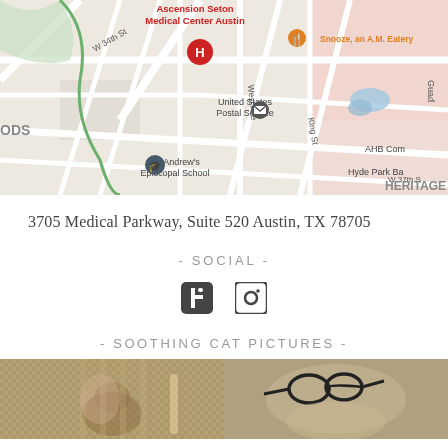[Figure (map): Google Maps view showing area around 3705 Medical Parkway Austin TX, featuring Ascension Seton Medical Center Austin, Snooze an A.M. Eatery, United States Postal Service, St. Andrew's Episcopal School, AHB Community, Hyde Park Ba, and HERITAGE neighborhood labels]
3705 Medical Parkway, Suite 520 Austin, TX 78705
- SOCIAL -
[Figure (other): Facebook and Instagram social media icons]
- SOOTHING CAT PICTURES -
[Figure (photo): Two cat photos side by side: left shows a cat on a woven/textured surface, right shows a cat with glasses or dark objects nearby]